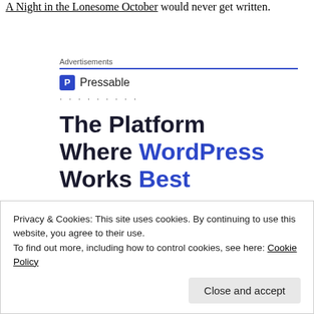A Night in the Lonesome October would never get written.
Advertisements
[Figure (logo): Pressable logo with blue P icon and text 'Pressable', followed by dots, then ad headline 'The Platform Where WordPress Works Best']
Privacy & Cookies: This site uses cookies. By continuing to use this website, you agree to their use. To find out more, including how to control cookies, see here: Cookie Policy